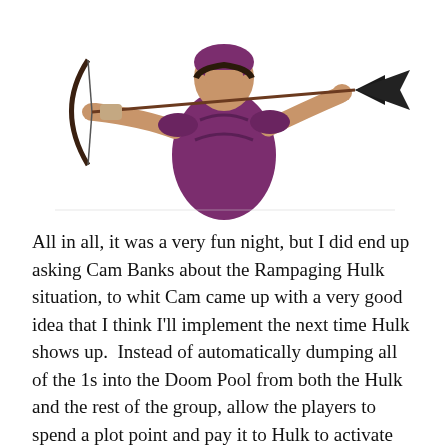[Figure (illustration): Comic-style illustration of Hawkeye/archer character in purple costume drawing a bow with arrow aimed forward, upper body visible, cropped at bottom of image area.]
All in all, it was a very fun night, but I did end up asking Cam Banks about the Rampaging Hulk situation, to whit Cam came up with a very good idea that I think I'll implement the next time Hulk shows up.  Instead of automatically dumping all of the 1s into the Doom Pool from both the Hulk and the rest of the group, allow the players to spend a plot point and pay it to Hulk to activate his 1s like they would a Watcher character.  Sounds like a great plan.
Still loving the game, and the event, and looking